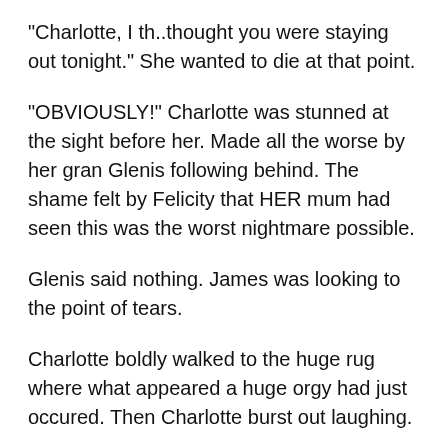“Charlotte, I th..thought you were staying out tonight.” She wanted to die at that point.
“OBVIOUSLY!” Charlotte was stunned at the sight before her. Made all the worse by her gran Glenis following behind. The shame felt by Felicity that HER mum had seen this was the worst nightmare possible.
Glenis said nothing. James was looking to the point of tears.
Charlotte boldly walked to the huge rug where what appeared a huge orgy had just occured. Then Charlotte burst out laughing.
“I know you!” She pointed at the youth. James looked